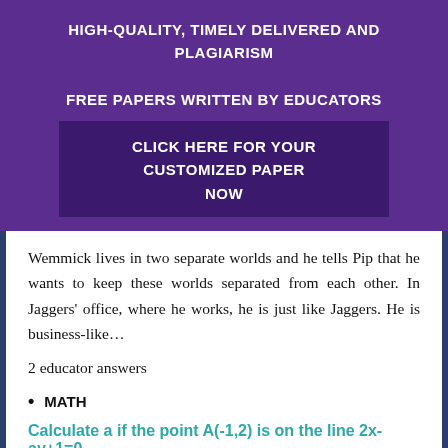HIGH-QUALITY, TIMELY DELIVERED AND PLAGIARISM FREE PAPERS WRITTEN BY EDUCATORS
CLICK HERE FOR YOUR CUSTOMIZED PAPER NOW
Wemmick lives in two separate worlds and he tells Pip that he wants to keep these worlds separated from each other. In Jaggers' office, where he works, he is just like Jaggers. He is business-like...
2 educator answers
MATH
Calculate a if the point A(-1,2) is on the line 2x-ay+1=0
A(-1,2) 2x – ay + 1= 0 Since the point A is on the line,